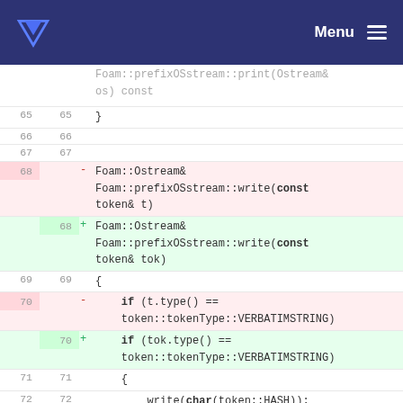Menu
[Figure (screenshot): Code diff view showing changes to Foam::prefixOSstream::write function, renaming parameter 't' to 'tok'. Lines 65-73 shown with deleted (red) and added (green) diff rows.]